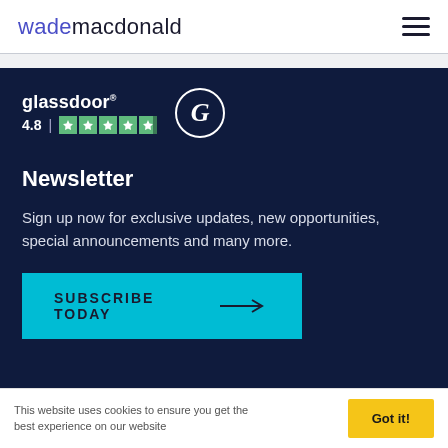wade macdonald
[Figure (logo): Glassdoor logo badge showing rating 4.8 with 5 stars and circular G icon]
Newsletter
Sign up now for exclusive updates, new opportunities, special announcements and many more.
SUBSCRIBE TODAY →
This website uses cookies to ensure you get the best experience on our website